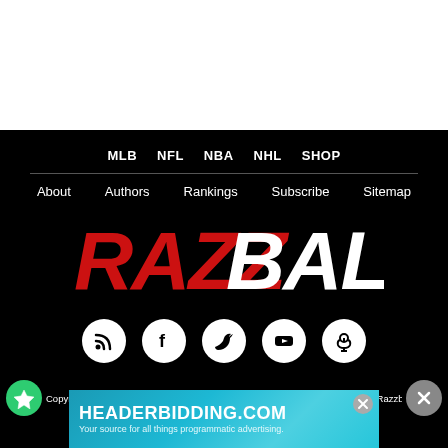MLB  NFL  NBA  NHL  SHOP
About  Authors  Rankings  Subscribe  Sitemap
[Figure (logo): RazzBall logo — RAZZ in red/dark italic, BALL in white italic bold, on black background]
[Figure (other): Social media icons row: RSS feed, Facebook, Twitter, YouTube, Podcast — white circles on black]
Copyright 2007-2022 Razzball LLC. All rights reserved. Razzball.com and the Razzball logo units are
[Figure (screenshot): Ad banner: HEADERBIDDING.COM — Your source for all things programmatic advertising.]